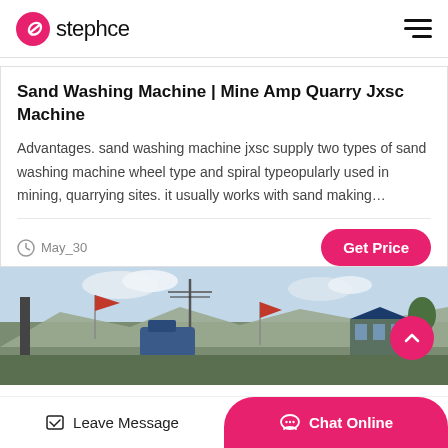stephce
Sand Washing Machine | Mine Amp Quarry Jxsc Machine
Advantages. sand washing machine jxsc supply two types of sand washing machine wheel type and spiral typeopularly used in mining, quarrying sites. it usually works with sand making…
May_30
[Figure (photo): Outdoor photo showing a quarry or mining site with flags, utility poles, buildings, and machinery under a partly cloudy sky.]
Leave Message   Chat Online